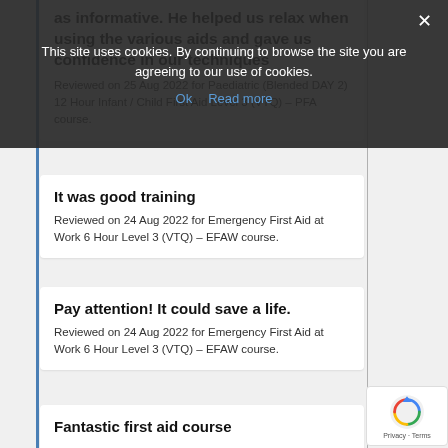This site uses cookies. By continuing to browse the site you are agreeing to our use of cookies. Ok  Read more
as informative. He helped us relax when using the various aids and gave us confidence in our techniques
Reviewed on 25 Aug 2022 for Paediatric (Blended DAY 2) 12 Hour Infant / Child First Aid Level 3 (VTQ) – PFA course.
It was good training
Reviewed on 24 Aug 2022 for Emergency First Aid at Work 6 Hour Level 3 (VTQ) – EFAW course.
Pay attention! It could save a life.
Reviewed on 24 Aug 2022 for Emergency First Aid at Work 6 Hour Level 3 (VTQ) – EFAW course.
Fantastic first aid course